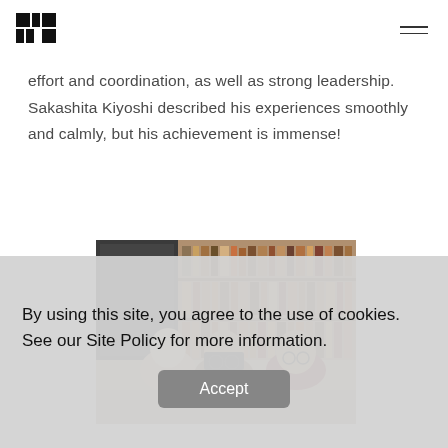[Figure (logo): FU Berlin logo — black geometric blocks forming stylized letters]
effort and coordination, as well as strong leadership. Sakashita Kiyoshi described his experiences smoothly and calmly, but his achievement is immense!
[Figure (photo): Three people (two women and one man) sitting in a library with bookshelves in the background]
By using this site, you agree to the use of cookies. See our Site Policy for more information.
Accept